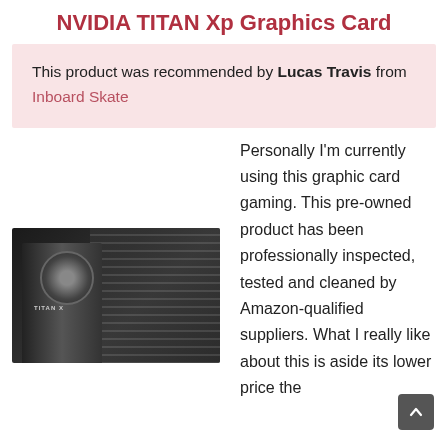NVIDIA TITAN Xp Graphics Card
This product was recommended by Lucas Travis from Inboard Skate
Personally I'm currently using this graphic card gaming. This pre-owned product has been professionally inspected, tested and cleaned by Amazon-qualified suppliers. What I really like about this is aside its lower price the
[Figure (photo): Photo of NVIDIA TITAN Xp graphics card on dark background]